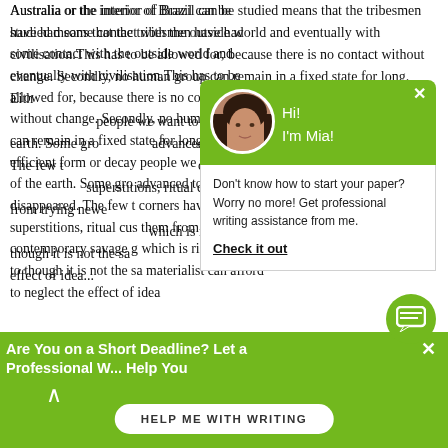Australia or the interior of Brazil can be studied means that the tribesmen have had some contact with the outside world and eventually with civilisation. This has to be allowed for, because there is no contact without change. Secondly, no human group can remain in a fixed state for long. Either a culture advances to a more efficient form or decays. Thirdly, the 'contemporary' people we want to study are still living on the surface of the earth. Some groups have advanced to modern civilisation and disappeared. The few that survive in forgotten corners have developed elaborate mythologies, superstitions, ritual customs, and taboos which prevent them from trying newer things. Thus the study of contemporary savage groups gives us a picture of life which is rigid enough to be called a stage, even though it is not the same everywhere... even a materialist can afford to neglect the effect of ideas...
[Figure (screenshot): Green chat popup overlay with avatar photo of a woman (Mia), text 'Hi! I'm Mia!', followed by white box with text 'Don't know how to start your paper? Worry no more! Get professional writing assistance from me.' and a bold underlined link 'Check it out']
[Figure (screenshot): Bottom green bar with text 'Are You on a Short Deadline? Let a Professional W... Help You', an up arrow, a white 'HELP ME WITH WRITING' button, and an X close button. Also a green chat icon bubble on the right.]